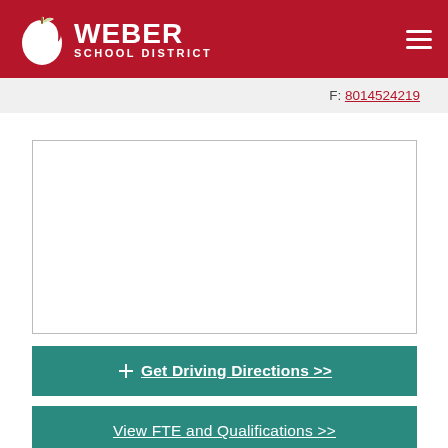Weber School District
F: 8014524219
[Figure (map): Embedded map showing location, blank/white placeholder]
⊕  Get Driving Directions >>
View FTE and Qualifications >>
Washington Terrace is a Title One school with an enrollment of